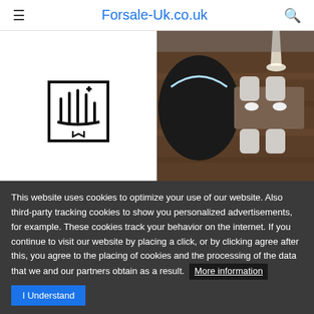Forsale-Uk.co.uk
[Figure (illustration): Nail technician icon — line art of a hand with decorative elements in a square frame]
Experienced Nail
[Figure (photo): Interior room photo showing dark furniture, chairs, and wooden flooring with ambient lighting]
Full and part time
This website uses cookies to optimize your use of our website. Also third-party tracking cookies to show you personalized advertisements, for example. These cookies track your behavior on the internet. If you continue to visit our website by placing a click, or by clicking agree after this, you agree to the placing of cookies and the processing of the data that we and our partners obtain as a result.  More information  I Understand